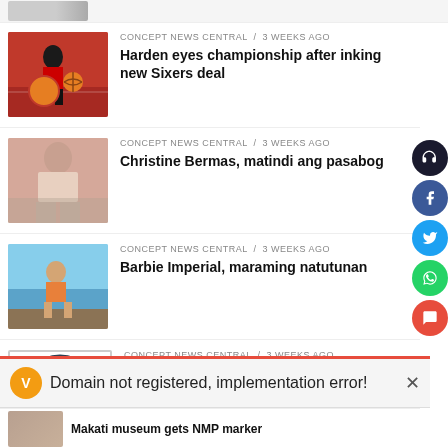[Figure (screenshot): Partially visible top news item (clipped)]
CONCEPT NEWS CENTRAL / 3 weeks ago
Harden eyes championship after inking new Sixers deal
[Figure (photo): Basketball player dribbling on court]
CONCEPT NEWS CENTRAL / 3 weeks ago
Christine Bermas, matindi ang pasabog
[Figure (photo): Woman posing outdoors]
CONCEPT NEWS CENTRAL / 3 weeks ago
Barbie Imperial, maraming natutunan
[Figure (photo): Woman sitting outdoors near water]
CONCEPT NEWS CENTRAL / 3 weeks ago
Monkeypox, dapat bang ikabahala?
[Figure (logo): Editorial cartoon logo with owl character]
Domain not registered, implementation error!
Makati museum gets NMP marker